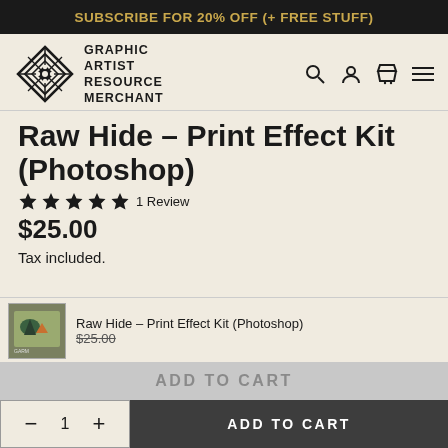SUBSCRIBE FOR 20% OFF (+ FREE STUFF)
[Figure (logo): Graphic Artist Resource Merchant (GARM) logo with geometric diamond/crosshatch icon and stacked text]
Raw Hide – Print Effect Kit (Photoshop)
★★★★★ 1 Review
$25.00
Tax included.
Raw Hide – Print Effect Kit (Photoshop)
$25.00
ADD TO CART
- 1 + ADD TO CART